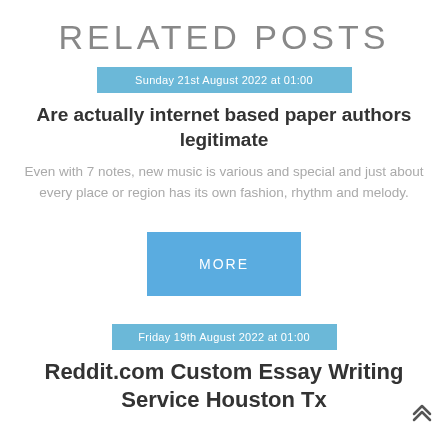RELATED POSTS
Sunday 21st August 2022 at 01:00
Are actually internet based paper authors legitimate
Even with 7 notes, new music is various and special and just about every place or region has its own fashion, rhythm and melody.
MORE
Friday 19th August 2022 at 01:00
Reddit.com Custom Essay Writing Service Houston Tx